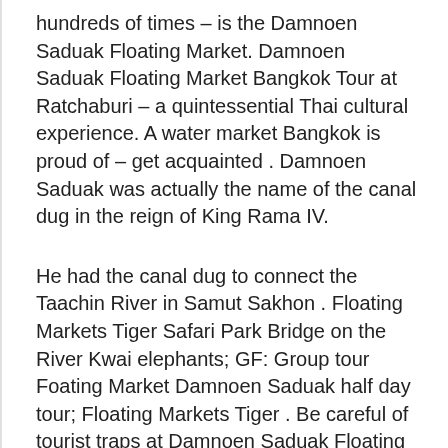hundreds of times – is the Damnoen Saduak Floating Market. Damnoen Saduak Floating Market Bangkok Tour at Ratchaburi – a quintessential Thai cultural experience. A water market Bangkok is proud of – get acquainted . Damnoen Saduak was actually the name of the canal dug in the reign of King Rama IV.
He had the canal dug to connect the Taachin River in Samut Sakhon . Floating Markets Tiger Safari Park Bridge on the River Kwai elephants; GF: Group tour Foating Market Damnoen Saduak half day tour; Floating Markets Tiger . Be careful of tourist traps at Damnoen Saduak Floating Market like boat rides, this guide will show you how to go to the Floating Market on . See 25photos and 1tips from 127visitors to ตลาดน้ำดำเนินสะดวก (Damnoen Saduak Floating Market). Come early in the morning before the crowds. Damnoen Saduak floating market, located 1kilometres southwest of Bangkok, is world famous for its beauty as a market on the water.Værvarsel